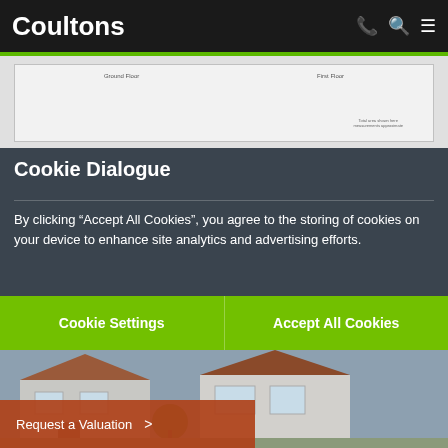Coultons
[Figure (screenshot): Partial floor plan with Ground Floor and First Floor labels visible, light grey background]
Cookie Dialogue
By clicking “Accept All Cookies”, you agree to the storing of cookies on your device to enhance site analytics and advertising efforts.
Cookie Settings
Accept All Cookies
[Figure (photo): Photo of a semi-detached house with white render and red brick roof, suburban street]
Request a Valuation